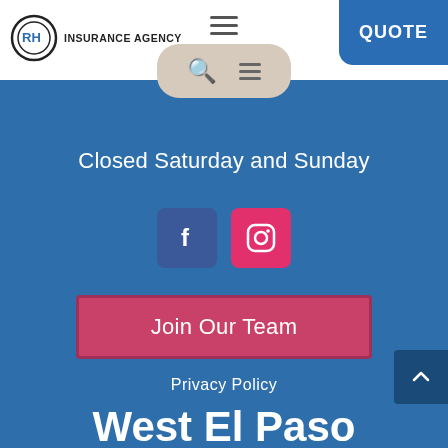[Figure (logo): RH Insurance Agency logo with circular RH emblem and text]
[Figure (screenshot): Navigation search and menu pill button with magnifying glass and hamburger menu icons]
[Figure (screenshot): QUOTE button in blue on top right corner]
Closed Saturday and Sunday
[Figure (infographic): Facebook icon (blue square with f) and Instagram icon (pink square with camera)]
Join Our Team
Privacy Policy
West El Paso